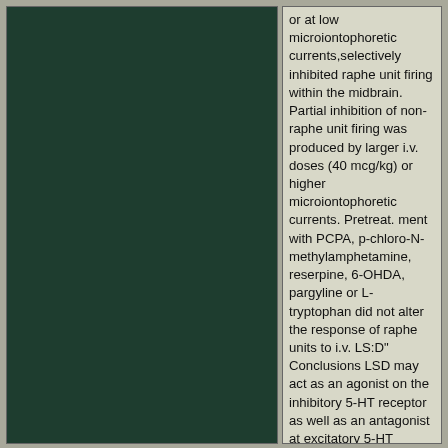[Figure (photo): Dark green/teal rectangular panel occupying the left portion of the page]
or at low microiontophoretic currents,selectively inhibited raphe unit firing within the midbrain. Partial inhibition of non-raphe unit firing was produced by larger i.v. doses (40 mcg/kg) or higher microiontophoretic currents. Pretreat. ment with PCPA, p-chloro-N-methylamphetamine, reserpine, 6-OHDA, pargyline or L-tryptophan did not alter the response of raphe units to i.v. LS:D" Conclusions LSD may act as an agonist on the inhibitory 5-HT receptor as well as an antagonist at excitatory 5-HT receptors.